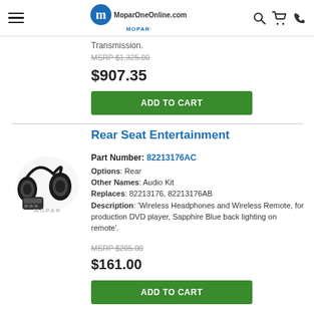MoparOneOnline.com
Transmission.
MSRP $1,325.00
$907.35
ADD TO CART
Rear Seat Entertainment
Part Number: 82213176AC
Options: Rear
Other Names: Audio Kit
Replaces: 82213176, 82213176AB
Description: 'Wireless Headphones and Wireless Remote, for production DVD player, Sapphire Blue back lighting on remote'.
MSRP $205.00
$161.00
ADD TO CART